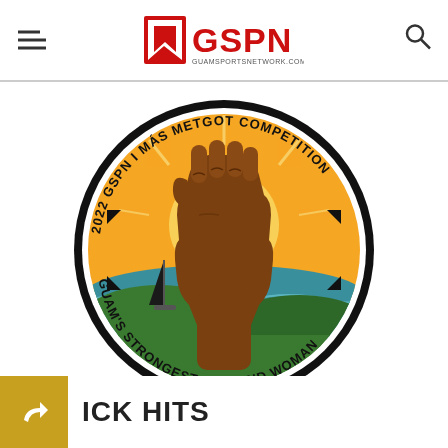GSPN - GUAMSPORTSNETWORK.COM
[Figure (logo): 2022 GSPN I MÁS METGOT COMPETITION circular logo featuring a raised brown fist over a sunset scene with a sailboat and green hills. Text around circle reads '2022 GSPN I MÁS METGOT COMPETITION' on top and 'GUAM'S STRONGEST MAN AND WOMAN' on bottom.]
ICK HITS